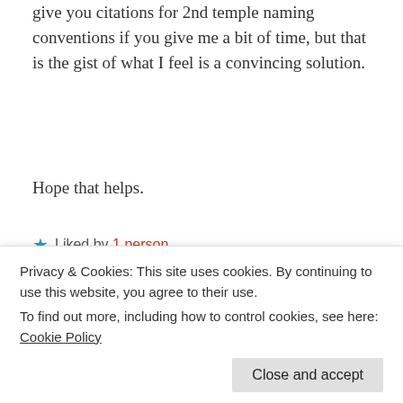give you citations for 2nd temple naming conventions if you give me a bit of time, but that is the gist of what I feel is a convincing solution.
Hope that helps.
★ Liked by 1 person
Reply
[Figure (illustration): Avatar image with geometric red and white pattern]
Amirul Afiq
August 12, 2020 at 3:49 am
Privacy & Cookies: This site uses cookies. By continuing to use this website, you agree to their use.
To find out more, including how to control cookies, see here: Cookie Policy
Close and accept
that this naming convention is used in the time of Je...